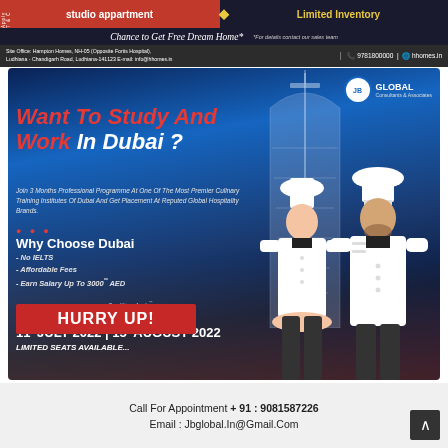studio appartment  ♦  Limited Inventory
Chance to Get Free Dream Home*  *For details contact our sales team
Site Office: Hampton Homes, NH-05 (Opposite Fortis Hospital), Ludhiana - Chandigarh Road, Ludhiana-141123 E-mail: info@hhomes.in  |  📞 9781800000  |  🌐 hhomes.in
[Figure (infographic): JB Global Consultants & Associates advertisement for studying and working in Dubai. Burj Al Arab in background. Two chefs in white uniforms. Red and white bold text.]
Want To Study And Work In Dubai?
Join 3 Months Professional Programme At One Of The Most Premier Culinary Training Institutes Of Dubai And Get Placement At Reputed Global Hospitality Brands.
Why Choose Dubai
- No IELTS
- Affordable Fees
- Earn Salary Up To 3000** AED
Conditions Apply**
Batch Start
11th JULY 2022 | 15th AUGUST 2022
HURRY UP!
LIMITED SEATS AVAILABLE...
Call For Appointment + 91 : 9081587226
Email : Jbglobal.In@Gmail.Com